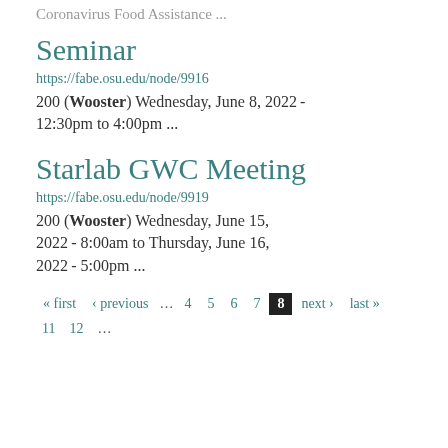Coronavirus Food Assistance ...
Seminar
https://fabe.osu.edu/node/9916
200 (Wooster) Wednesday, June 8, 2022 - 12:30pm to 4:00pm ...
Starlab GWC Meeting
https://fabe.osu.edu/node/9919
200 (Wooster) Wednesday, June 15, 2022 - 8:00am to Thursday, June 16, 2022 - 5:00pm ...
« first ‹ previous … 4 5 6 7 8 next › last » 11 12 …